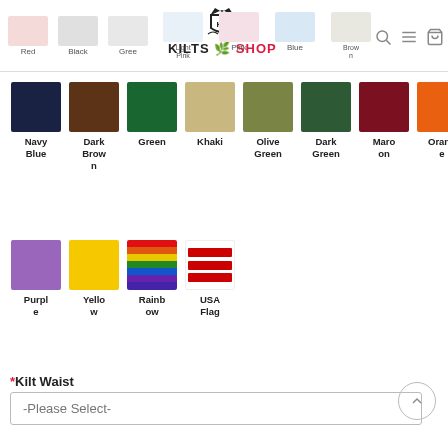Kilts Shop navigation header with color swatches: Red, Black, Green, Light Pink, Pink, Blue, Brown
[Figure (logo): Kilts Shop logo with crown and shield, text KILTS SHOP in red]
[Figure (infographic): Color swatches grid row 1: Navy Blue, Dark Brown, Green, Khaki, Olive Green, Dark Green, Maroon, Orange]
[Figure (infographic): Color swatches grid row 2: Purple, Yellow, Rainbow, USA Flag]
*Kilt Waist
-Please Select-